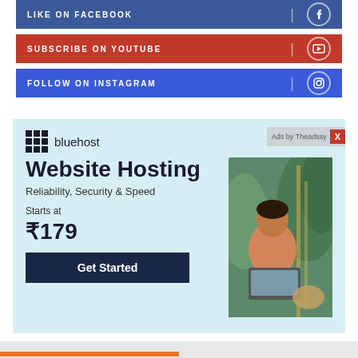LIKE ON FACEBOOK
SUBSCRIBE ON YOUTUBE
FOLLOW ON INSTAGRAM
[Figure (infographic): Bluehost website hosting advertisement. Light blue background with Bluehost logo and grid icon, 'Website Hosting' headline, 'Reliability, Security & Speed' tagline, 'Starts at ₹179', Get Started button, and photo of woman with laptop. 'Ads by Theadssy' label with red X in top right.]